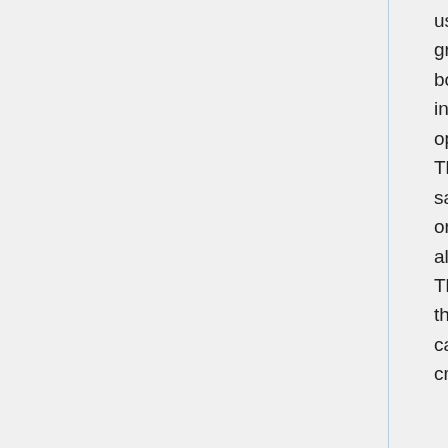use of grades steeper than 5 percent is usually restricted to short grades in urban or suburban areas. Vertical curves for ramps, both crest and sag, are designed to meet the requirements given in the Vertical Alignment article based on the desirable ramp operating speed, except passing sight distance is not considered. The ramp grades are also designed in accordance with these same requirements, regardless of whether the ramp grade is up or down in relation to the roadway. Mainline grades are set, if at all possible, prior to developing the geometrics and ramp grades. The best procedure is to develop grades through and adjacent to the interchange so mainline grades outside the interchange area can be adjusted to finally balance grading quantities, and the crossroad